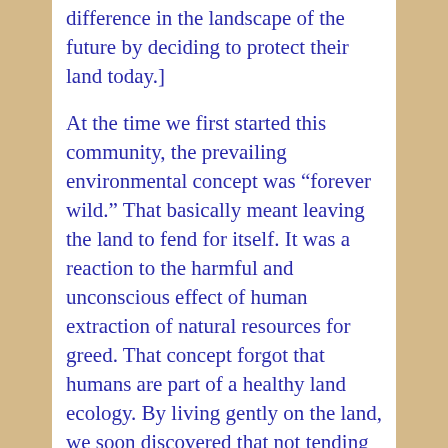difference in the landscape of the future by deciding to protect their land today.]
At the time we first started this community, the prevailing environmental concept was “forever wild.” That basically meant leaving the land to fend for itself. It was a reaction to the harmful and unconscious effect of human extraction of natural resources for greed. That concept forgot that humans are part of a healthy land ecology. By living gently on the land, we soon discovered that not tending the land or forest is dangerous.
We then sought to live according to Aldo Leopold’s words.
We saw ourselves as an interactive part of the community of mammals, birds